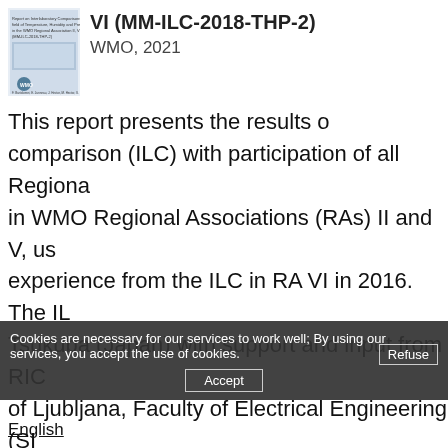[Figure (illustration): Thumbnail of a WMO report book cover with small text and a WMO logo at the bottom]
VI (MM-ILC-2018-THP-2)
WMO, 2021
This report presents the results of a comparison (ILC) with participation of all Regional in WMO Regional Associations (RAs) II and V, using experience from the ILC in RA VI in 2016. The ILC Tsukuba (Japan) with support and input from RIC of Ljubljana, Faculty of Electrical Engineering (SI ILC in RA II and RA V clearly demonstrate the hi particularly in the domains of temperature and hu areas requirin
English